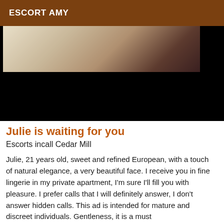ESCORT AMY
[Figure (photo): Photo showing fabric or textile with tan/beige and dark purple/brown tones, partially obscured by a black area]
Julie is waiting for you
Escorts incall Cedar Mill
Julie, 21 years old, sweet and refined European, with a touch of natural elegance, a very beautiful face. I receive you in fine lingerie in my private apartment, I'm sure I'll fill you with pleasure. I prefer calls that I will definitely answer, I don't answer hidden calls. This ad is intended for mature and discreet individuals. Gentleness, it is a must